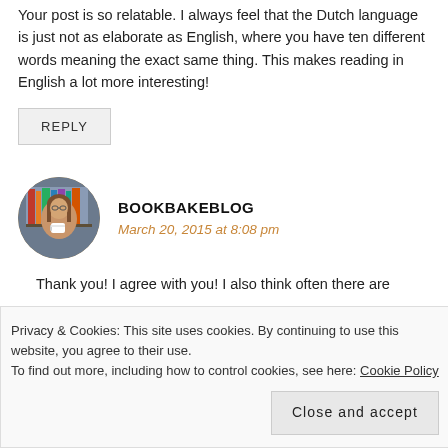Your post is so relatable. I always feel that the Dutch language is just not as elaborate as English, where you have ten different words meaning the exact same thing. This makes reading in English a lot more interesting!
REPLY
[Figure (photo): Circular avatar photo of a woman with long brown hair, wearing glasses, holding a mug, standing in front of bookshelves]
BOOKBAKEBLOG
March 20, 2015 at 8:08 pm
Thank you! I agree with you! I also think often there are
Privacy & Cookies: This site uses cookies. By continuing to use this website, you agree to their use.
To find out more, including how to control cookies, see here: Cookie Policy
Close and accept